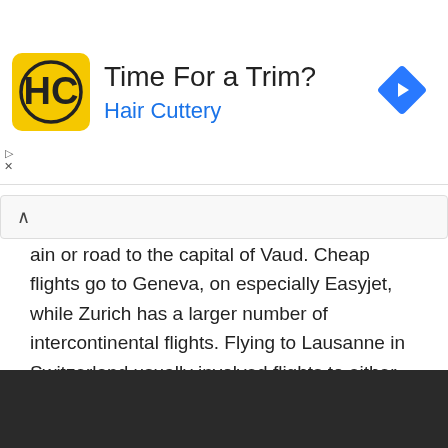[Figure (screenshot): Advertisement banner for Hair Cuttery with yellow logo, text 'Time For a Trim?' and 'Hair Cuttery' in blue, and a blue navigation diamond icon on the right.]
ain or road to the capital of Vaud. Cheap flights go to Geneva, on especially Easyjet, while Zurich has a larger number of intercontinental flights. Flying to Lausanne in Switzerland usually involved flights to either Geneva (GVA) or Zurich (ZRH) airports and then a … [Read more...]
Home » Lausanne